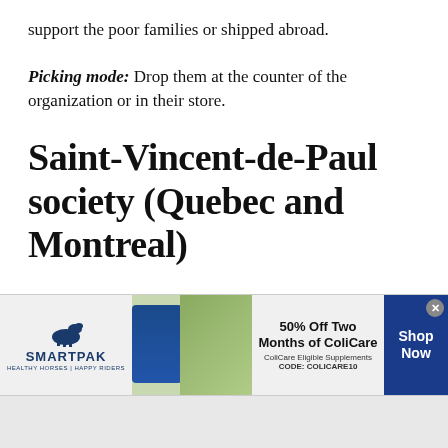support the poor families or shipped abroad.
Picking mode: Drop them at the counter of the organization or in their store.
Saint-Vincent-de-Paul society (Quebec and Montreal)
Purpose of the organization: Help people in
[Figure (other): Advertisement banner for SmartPak featuring ColiCare supplement promotion. Shows SmartPak logo with horse icon, product image, horse and rider photo, text '50% Off Two Months of ColiCare, ColiCare Eligible Supplements, CODE: COLICARE10', and a blue 'Shop Now' button.]